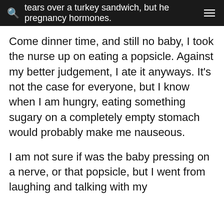tears over a turkey sandwich, but he pregnancy hormones.
Come dinner time, and still no baby, I took the nurse up on eating a popsicle. Against my better judgement, I ate it anyways. It's not the case for everyone, but I know when I am hungry, eating something sugary on a completely empty stomach would probably make me nauseous.
I am not sure if was the baby pressing on a nerve, or that popsicle, but I went from laughing and talking with my